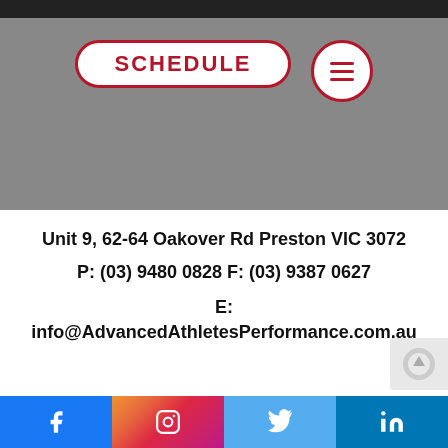[Figure (screenshot): Gray banner area with SCHEDULE button (white pill with red border and red bold text) and a hamburger menu button (white circle with red border and red lines). Black bar at top.]
Unit 9, 62-64 Oakover Rd Preston VIC 3072
P: (03) 9480 0828 F: (03) 9387 0627
E:
info@AdvancedAthletesPerformance.com.au
[Figure (infographic): Social media footer bar with Facebook, Instagram, Twitter, and LinkedIn icons on colored backgrounds.]